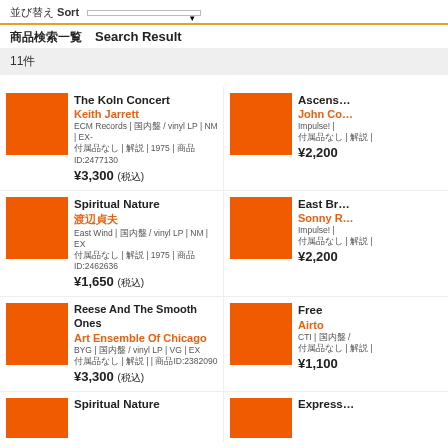並び替え Sort [dropdown]
商品検索一覧 Search Result
11件
The Koln Concert
Keith Jarrett
ECM Records | 国内盤 / vinyl LP | NM | EX- 付属品なし | 解説 | 1975 | 商品ID:2477130
¥3,300 (税込)
Ascens...
John Co...
Impulse! | 付属品なし | 解説 |
¥2,200
Spiritual Nature
渡辺貞夫
East Wind | 国内盤 / vinyl LP | NM | EX 付属品なし | 解説 | 1975 | 商品ID:2462636
¥1,650 (税込)
East Br...
Sonny R...
Impulse! | 付属品なし | 解説 |
¥2,200
Reese And The Smooth Ones
Art Ensemble Of Chicago
BYG | 国内盤 / vinyl LP | VG | EX 付属品なし | 解説 | | 商品ID:2382090
¥3,300 (税込)
Free
Airto
CTI | 国内盤 / 付属品なし | 解説 |
¥1,100
Spiritual Nature
Express...